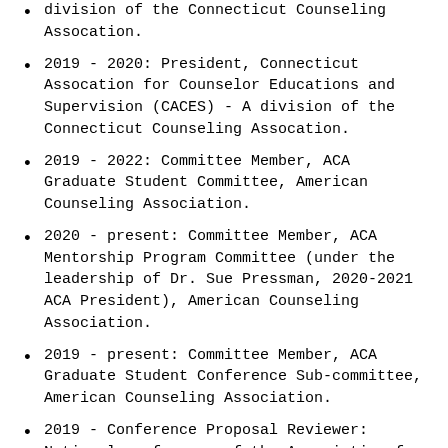division of the Connecticut Counseling Assocation.
2019 - 2020: President, Connecticut Assocation for Counselor Educations and Supervision (CACES) - A division of the Connecticut Counseling Assocation.
2019 - 2022: Committee Member, ACA Graduate Student Committee, American Counseling Association.
2020 - present: Committee Member, ACA Mentorship Program Committee (under the leadership of Dr. Sue Pressman, 2020-2021 ACA President), American Counseling Association.
2019 - present: Committee Member, ACA Graduate Student Conference Sub-committee, American Counseling Association.
2019 - Conference Proposal Reviewer: National conference of the Association for Counselor Education and Supervision (ACES), October 2019, Seattle, WA.